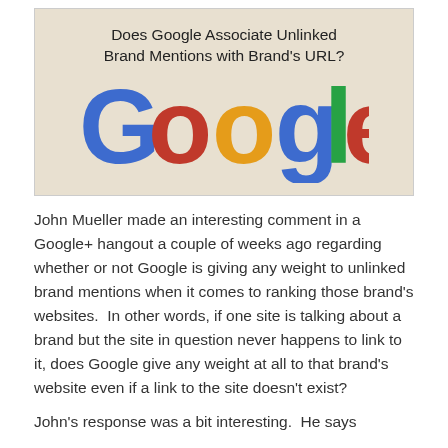[Figure (illustration): Beige/tan background image with the title 'Does Google Associate Unlinked Brand Mentions with Brand's URL?' above a large colorful Google logo]
John Mueller made an interesting comment in a Google+ hangout a couple of weeks ago regarding whether or not Google is giving any weight to unlinked brand mentions when it comes to ranking those brand's websites.  In other words, if one site is talking about a brand but the site in question never happens to link to it, does Google give any weight at all to that brand's website even if a link to the site doesn't exist?
John's response was a bit interesting.  He says